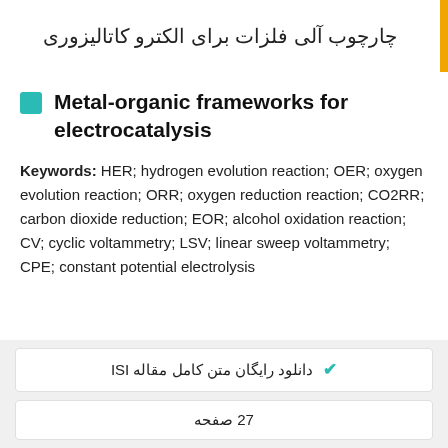چارچوب آلی فلزات برای الکترو کاتالیزوری
Metal-organic frameworks for electrocatalysis
Keywords: HER; hydrogen evolution reaction; OER; oxygen evolution reaction; ORR; oxygen reduction reaction; CO2RR; carbon dioxide reduction; EOR; alcohol oxidation reaction; CV; cyclic voltammetry; LSV; linear sweep voltammetry; CPE; constant potential electrolysis
دانلود رایگان متن کامل مقاله ISI
27 صفحه